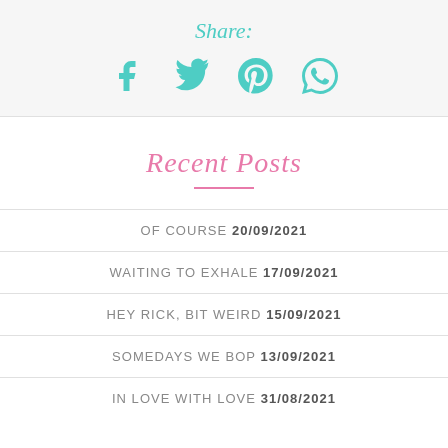Share:
[Figure (infographic): Four social share icons in teal: Facebook (f), Twitter (bird), Pinterest (p), WhatsApp (chat bubble)]
Recent Posts
OF COURSE 20/09/2021
WAITING TO EXHALE 17/09/2021
HEY RICK, BIT WEIRD 15/09/2021
SOMEDAYS WE BOP 13/09/2021
IN LOVE WITH LOVE 31/08/2021